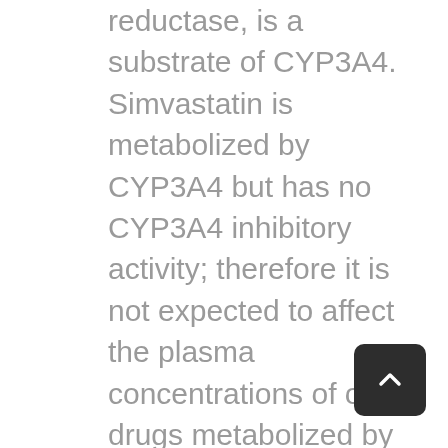reductase, is a substrate of CYP3A4. Simvastatin is metabolized by CYP3A4 but has no CYP3A4 inhibitory activity; therefore it is not expected to affect the plasma concentrations of other drugs metabolized by CYP3A4. Elevated plasma levels of HMG-CoA reductase inhibitory activity increases the risk of myopathy and rhabdomyolysis, particularly with higher doses of simvastatin. [See Warnings and Precautions (5.1) and Clinical Pharmacology (12.3).] Concomitant use of drugs labeled as having a strong inhibitory effect on CYP3A4 is contraindicated [see Contraindications (4)]. If treatment with itraconazole, ketoconazole, posaconazole, voriconazole, erythromycin, clarithromycin, or telithromycin is unavoidable, therapy with simvastatin must be suspended during the